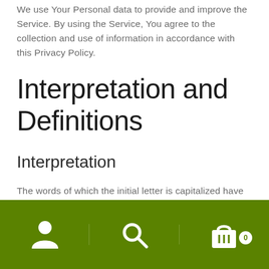We use Your Personal data to provide and improve the Service. By using the Service, You agree to the collection and use of information in accordance with this Privacy Policy.
Interpretation and Definitions
Interpretation
The words of which the initial letter is capitalized have meanings defined under the following conditions. The following definitions shall have the same meaning regardless of whether they appear in singular or in plural.